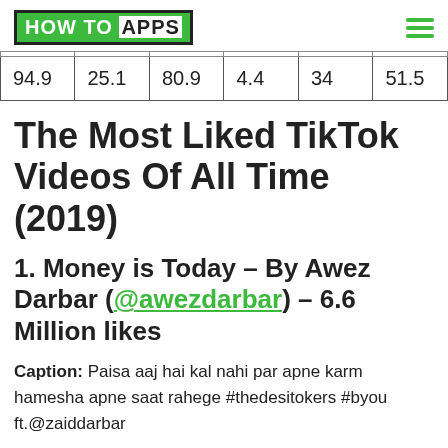HOW TO APPS
| 94.9 | 25.1 | 80.9 | 4.4 | 34 | 51.5 |
The Most Liked TikTok Videos Of All Time (2019)
1. Money is Today – By Awez Darbar (@awezdarbar) – 6.6 Million likes
Caption: Paisa aaj hai kal nahi par apne karm hamesha apne saat rahege #thedesitokers #byou ft.@zaiddarbar